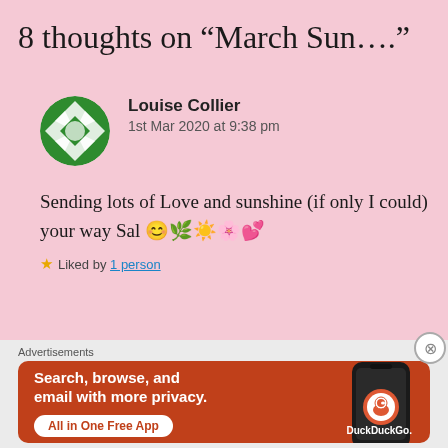8 thoughts on “March Sun….”
Louise Collier
1st Mar 2020 at 9:38 pm
Sending lots of Love and sunshine (if only I could) your way Sal 😊🌿☀️🌸💕
★ Liked by 1 person
Advertisements
[Figure (screenshot): DuckDuckGo advertisement banner with orange background, text 'Search, browse, and email with more privacy. All in One Free App' and a phone graphic with DuckDuckGo logo.]